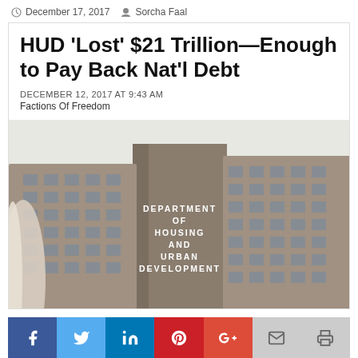December 17, 2017   Sorcha Faal
HUD 'Lost' $21 Trillion—Enough to Pay Back Nat'l Debt
DECEMBER 12, 2017 AT 9:43 AM
Factions Of Freedom
[Figure (photo): Low-angle photograph of the Department of Housing and Urban Development (HUD) brutalist concrete building in Washington D.C., with lettering reading DEPARTMENT OF HOUSING AND URBAN DEVELOPMENT on the central tower facade.]
Share buttons: Facebook, Twitter, LinkedIn, Pinterest, Google+, Email, Print